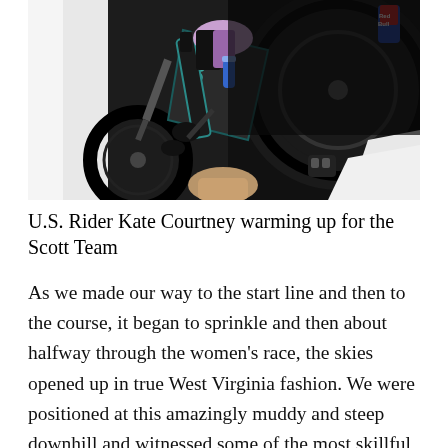[Figure (photo): Close-up photo of U.S. rider Kate Courtney on a Scott brand bicycle, warming up. A mechanic or person is crouching below the bike. The bike frame is dark/teal colored with 'SCOTT' branding visible. A Red Bull can is seen in the background.]
U.S. Rider Kate Courtney warming up for the Scott Team
As we made our way to the start line and then to the course, it began to sprinkle and then about halfway through the women's race, the skies opened up in true West Virginia fashion. We were positioned at this amazingly muddy and steep downhill and witnessed some of the most skillful bike handling you will ever see. Take the time to watch the races on Red Bull TV and you will see how difficult the course became and how well the